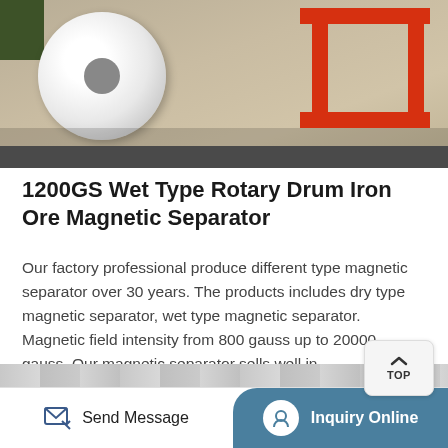[Figure (photo): Photo of a 1200GS Wet Type Rotary Drum Iron Ore Magnetic Separator machine with a white cylindrical roll on the left and a red metal stand/frame on the right, on a concrete floor.]
1200GS Wet Type Rotary Drum Iron Ore Magnetic Separator
Our factory professional produce different type magnetic separator over 30 years. The products includes dry type magnetic separator, wet type magnetic separator. Magnetic field intensity from 800 gauss up to 20000 gauss. Our magnetic separator sells well in ...
Get Price →
Send Message   Inquiry Online